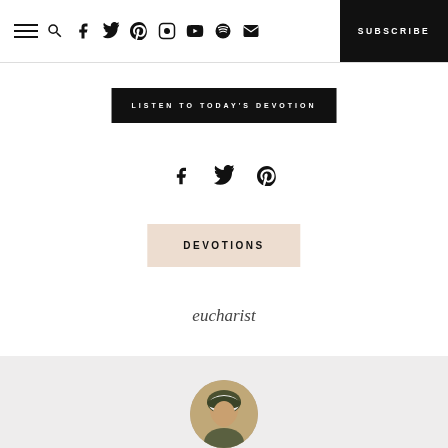SUBSCRIBE
LISTEN TO TODAY'S DEVOTION
[Figure (other): Social share icons: Facebook, Twitter, Pinterest]
DEVOTIONS
eucharist
[Figure (photo): Circular portrait photo of a person wearing a headscarf]